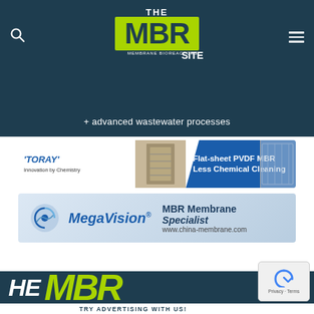[Figure (logo): The MBR Site logo - Membrane Bioreactors + advanced wastewater processes, on dark teal header with search and menu icons]
+ advanced wastewater processes
[Figure (photo): Toray advertisement banner: flat-sheet PVDF MBR, Less Chemical Cleaning. Innovation by Chemistry.]
[Figure (photo): MegaVision MBR Membrane Specialist advertisement, www.china-membrane.com]
[Figure (photo): The MBR Site logo large cropped background image]
TRY ADVERTISING WITH US!